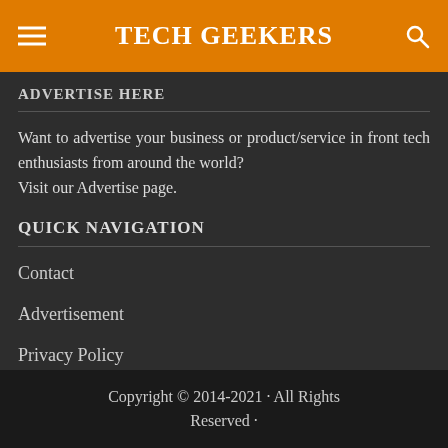TECH GEEKERS
ADVERTISE HERE
Want to advertise your business or product/service in front tech enthusiasts from around the world?
Visit our Advertise page.
QUICK NAVIGATION
Contact
Advertisement
Privacy Policy
The Team
Copyright © 2014-2021 · All Rights Reserved ·